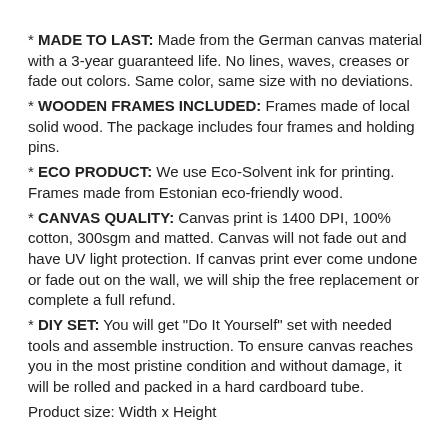* MADE TO LAST: Made from the German canvas material with a 3-year guaranteed life. No lines, waves, creases or fade out colors. Same color, same size with no deviations.
* WOODEN FRAMES INCLUDED: Frames made of local solid wood. The package includes four frames and holding pins.
* ECO PRODUCT: We use Eco-Solvent ink for printing. Frames made from Estonian eco-friendly wood.
* CANVAS QUALITY: Canvas print is 1400 DPI, 100% cotton, 300sgm and matted. Canvas will not fade out and have UV light protection. If canvas print ever come undone or fade out on the wall, we will ship the free replacement or complete a full refund.
* DIY SET: You will get "Do It Yourself" set with needed tools and assemble instruction. To ensure canvas reaches you in the most pristine condition and without damage, it will be rolled and packed in a hard cardboard tube.
Product size: Width x Height